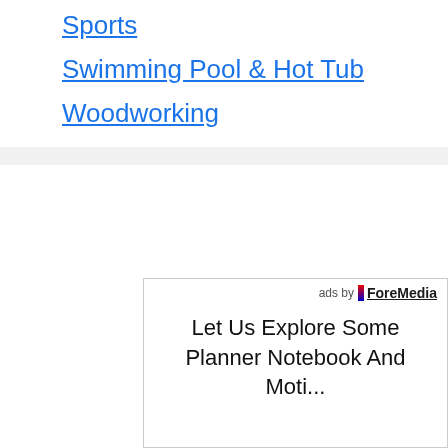Sports
Swimming Pool & Hot Tub
Woodworking
[Figure (other): Advertisement banner by ForeMedia: 'Let Us Explore Some Planner Notebook And Moti...']